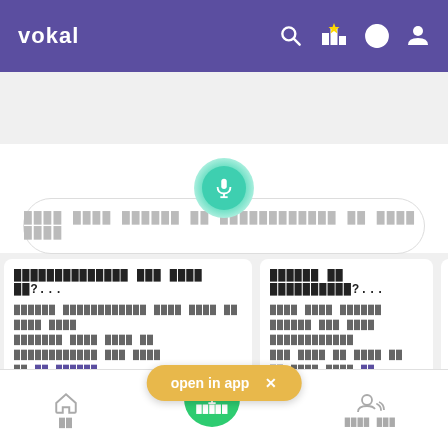vokal
[Figure (screenshot): Vokal app interface screenshot showing voice search, Q&A tabs, content cards, and bottom navigation]
Q & A  UPSC [Hindi category tabs]
open in app
Home | पूछें | Profile navigation